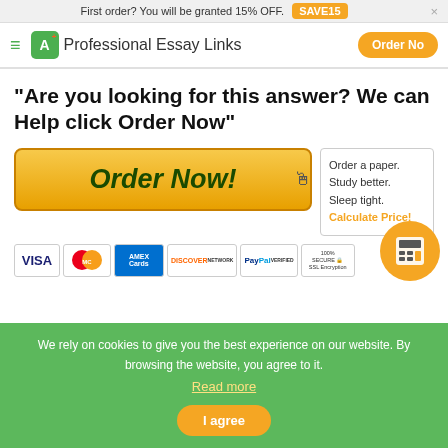First order? You will be granted 15% OFF. SAVE15
[Figure (screenshot): Navigation bar with hamburger menu, A+ logo, Professional Essay Links site name, and orange Order Now button]
"Are you looking for this answer? We can Help click Order Now"
[Figure (infographic): Orange Order Now button with cursor icon and tooltip saying Order a paper. Study better. Sleep tight. Calculate Price!]
[Figure (infographic): Payment icons row: VISA, MasterCard, American Express, Discover, PayPal, 100% Secure SSL Encryption]
[Figure (infographic): Orange calculator circle button]
We rely on cookies to give you the best experience on our website. By browsing the website, you agree to it. Read more
I agree